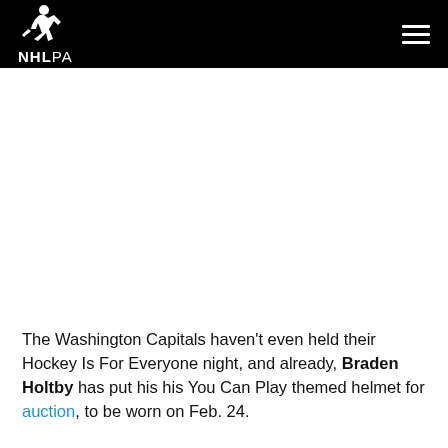NHLPA
The Washington Capitals haven't even held their Hockey Is For Everyone night, and already, Braden Holtby has put his his You Can Play themed helmet for auction, to be worn on Feb. 24.